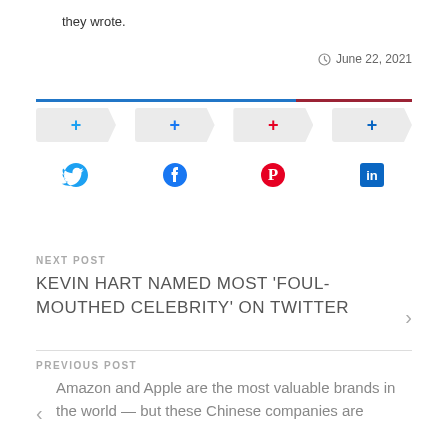they wrote.
June 22, 2021
[Figure (infographic): Social share buttons with plus icons for Twitter, Facebook, Pinterest, LinkedIn, followed by social media icons (Twitter bird, Facebook f, Pinterest P, LinkedIn in)]
NEXT POST
KEVIN HART NAMED MOST 'FOUL-MOUTHED CELEBRITY' ON TWITTER
PREVIOUS POST
Amazon and Apple are the most valuable brands in the world — but these Chinese companies are